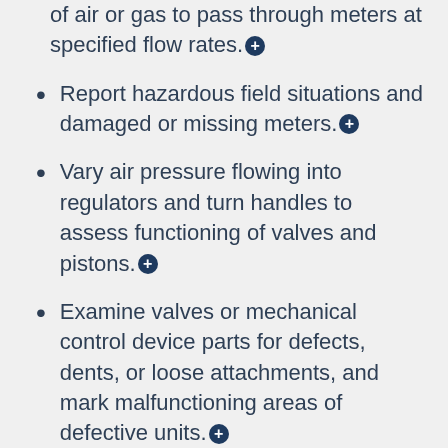of air or gas to pass through meters at specified flow rates.⊕
Report hazardous field situations and damaged or missing meters.⊕
Vary air pressure flowing into regulators and turn handles to assess functioning of valves and pistons.⊕
Examine valves or mechanical control device parts for defects, dents, or loose attachments, and mark malfunctioning areas of defective units.⊕
Mount and install meters and other electric equipment such as time clocks, transformers, and circuit breakers, using